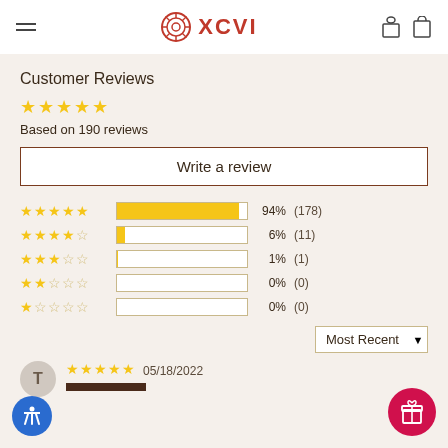XCVI
Customer Reviews
Based on 190 reviews
Write a review
[Figure (bar-chart): Rating distribution]
Most Recent
05/18/2022
T